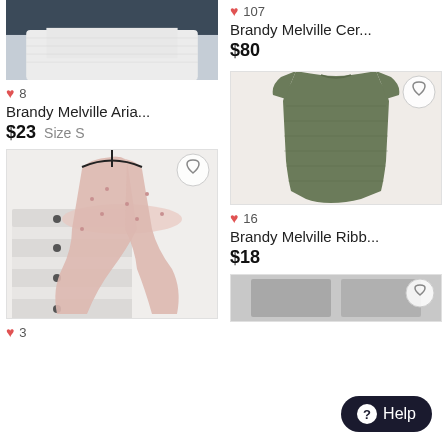[Figure (photo): White top/shirt product photo on model, partial view]
♥ 8
Brandy Melville Aria...
$23  Size S
[Figure (photo): Pink floral cardigan robe hanging on hanger in front of white dresser]
♥ 3
♥ 107
Brandy Melville Cer...
$80
[Figure (photo): Olive green ribbed t-shirt dress laid flat on white fur background]
♥ 16
Brandy Melville Ribb...
$18
[Figure (photo): Partial product photo at bottom right]
Help